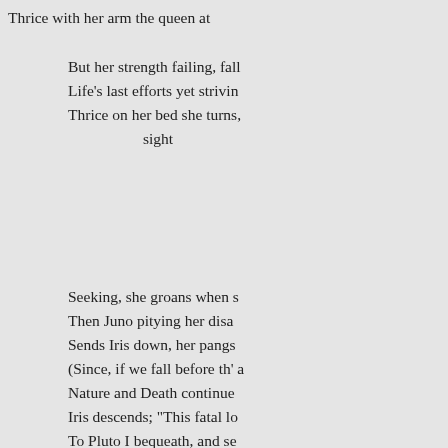Thrice with her arm the queen at
But her strength failing, fall
Life’s last efforts yet strivin
Thrice on her bed she turns,
    sight
Seeking, she groans when s
Then Juno pitying her disa
Sends Iris down, her pangs
(Since, if we fall before th’ a
Nature and Death continue 
Iris descends; "This fatal lo
To Pluto I bequeath, and se
Then clips her hair: cold nu
reaves
Her corpse of sense, and th’ air h
Going this last summer to visit th
honourable friend of mine, whon
this translation, which (being out
formerly passed through two lea